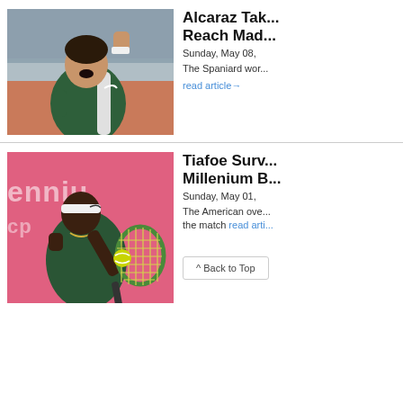[Figure (photo): Tennis player Carlos Alcaraz celebrating with fist pump on clay court]
Alcaraz Tak... Reach Mad...
Sunday, May 08,
The Spaniard wor...
read article→
[Figure (photo): Tennis player Frances Tiafoe hitting a backhand on clay court with pink Millenium banner behind]
Tiafoe Surv... Millenium B...
Sunday, May 01,
The American ove... the match
read arti...
^ Back to Top